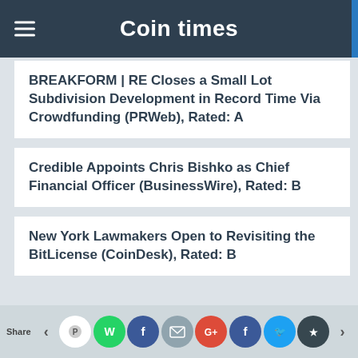Coin times
BREAKFORM | RE Closes a Small Lot Subdivision Development in Record Time Via Crowdfunding (PRWeb), Rated: A
Credible Appoints Chris Bishko as Chief Financial Officer (BusinessWire), Rated: B
New York Lawmakers Open to Revisiting the BitLicense (CoinDesk), Rated: B